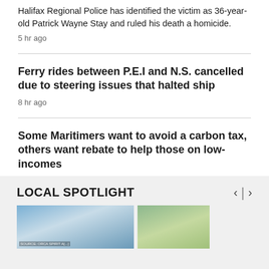Halifax Regional Police has identified the victim as 36-year-old Patrick Wayne Stay and ruled his death a homicide.
5 hr ago
Ferry rides between P.E.I and N.S. cancelled due to steering issues that halted ship
8 hr ago
Some Maritimers want to avoid a carbon tax, others want rebate to help those on low-incomes
LOCAL SPOTLIGHT
[Figure (photo): Two photos in the LOCAL SPOTLIGHT section — left shows a structure/building with overlaid source text, right shows an aerial/landscape view]
SOURCE: ORCA SPIRIT A[...]